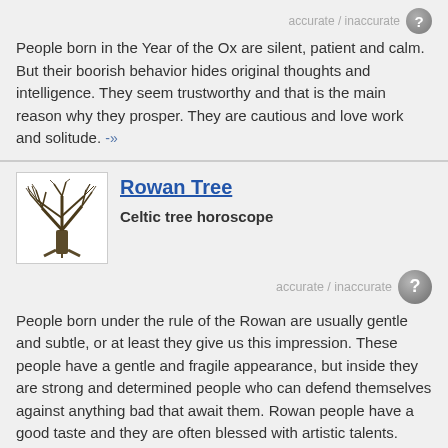People born in the Year of the Ox are silent, patient and calm. But their boorish behavior hides original thoughts and intelligence. They seem trustworthy and that is the main reason why they prosper. They are cautious and love work and solitude. -»
Rowan Tree
Celtic tree horoscope
accurate / inaccurate
People born under the rule of the Rowan are usually gentle and subtle, or at least they give us this impression. These people have a gentle and fragile appearance, but inside they are strong and determined people who can defend themselves against anything bad that await them. Rowan people have a good taste and they are often blessed with artistic talents. They give us the impression of closed people who do not like to be the centre of attention and who try to avoid big social events. -»
NUMEROLOGY